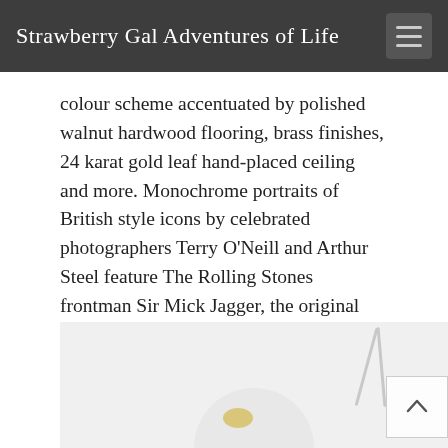Strawberry Gal Adventures of Life
colour scheme accentuated by polished walnut hardwood flooring, brass finishes, 24 karat gold leaf hand-placed ceiling and more. Monochrome portraits of British style icons by celebrated photographers Terry O'Neill and Arthur Steel feature The Rolling Stones frontman Sir Mick Jagger, the original 007 Sir Sean Connery, supermodels Jean Shrimpton and Twiggy, line the walls of the main dining room.
[Figure (photo): Partial view of a dining table setting with a white plate, gold-colored dot/garnish, and cutlery visible at the edges]